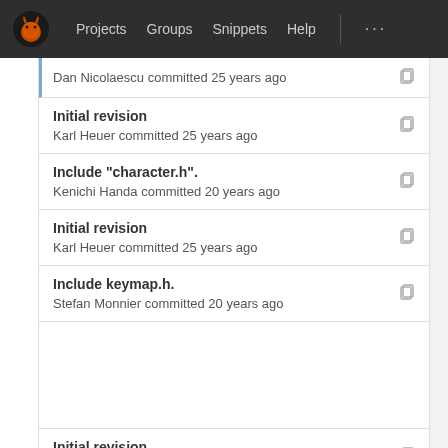Projects  Groups  Snippets  Help  ...
Dan Nicolaescu committed 12 years ago
Initial revision
Karl Heuer committed 25 years ago
Include "character.h".
Kenichi Handa committed 20 years ago
Initial revision
Karl Heuer committed 25 years ago
Include keymap.h.
Stefan Monnier committed 20 years ago
Initial revision
Karl Heuer committed 25 years ago